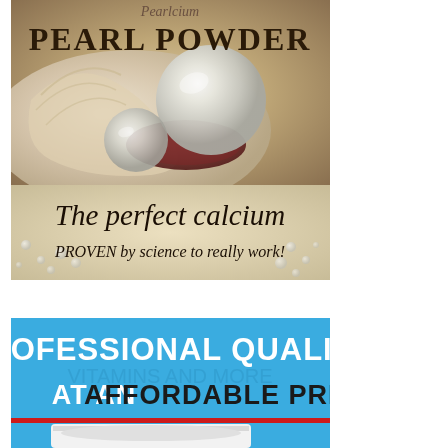[Figure (illustration): Product advertisement for Pearlcium Pearl Powder. Top section shows 'PEARL POWDER' title over a photographic illustration of a pearl inside an oyster shell with warm beige/golden tones. Below that, text reads 'The perfect calcium' and 'PROVEN by science to really work!' on a pearl/beige textured background. Bottom section is a blue advertisement banner reading 'PROFESSIONAL QUALITY AT AN AFFORDABLE PRICE' with a red divider bar and partial product container image.]